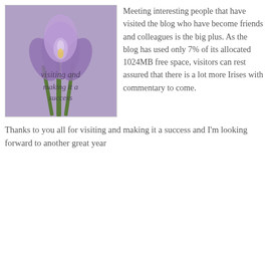[Figure (illustration): Photo of a purple/lavender iris flower with italic handwritten-style text overlay reading 'visiting and making it a success']
Meeting interesting people that have visited the blog who have become friends and colleagues is the big plus. As the blog has used only 7% of its allocated 1024MB free space, visitors can rest assured that there is a lot more Irises with commentary to come.
Thanks to you all for visiting and making it a success and I'm looking forward to another great year